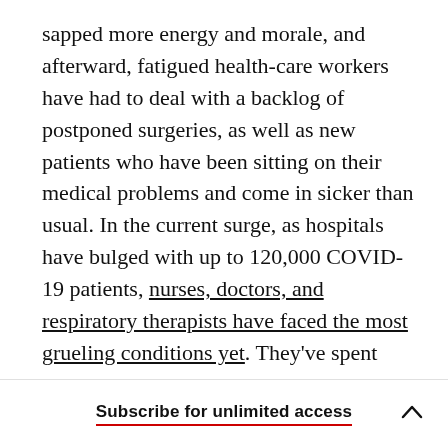sapped more energy and morale, and afterward, fatigued health-care workers have had to deal with a backlog of postponed surgeries, as well as new patients who have been sitting on their medical problems and come in sicker than usual. In the current surge, as hospitals have bulged with up to 120,000 COVID-19 patients, nurses, doctors, and respiratory therapists have faced the most grueling conditions yet. They've spent hours in intensive-care units packed with some of the sickest patients they have ever cared for, many of whom die. They fear infecting themselves or their families. They [clipped]
Subscribe for unlimited access